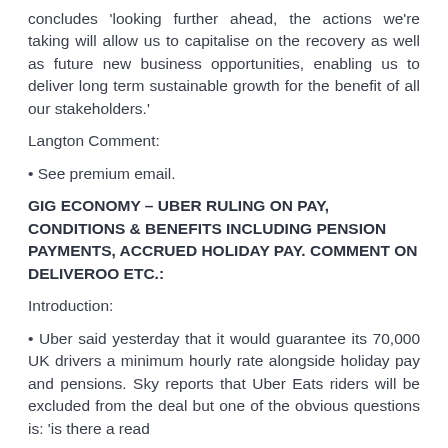concludes 'looking further ahead, the actions we're taking will allow us to capitalise on the recovery as well as future new business opportunities, enabling us to deliver long term sustainable growth for the benefit of all our stakeholders.'
Langton Comment:
• See premium email.
GIG ECONOMY – UBER RULING ON PAY, CONDITIONS & BENEFITS INCLUDING PENSION PAYMENTS, ACCRUED HOLIDAY PAY. COMMENT ON DELIVEROO ETC.:
Introduction:
• Uber said yesterday that it would guarantee its 70,000 UK drivers a minimum hourly rate alongside holiday pay and pensions. Sky reports that Uber Eats riders will be excluded from the deal but one of the obvious questions is: 'is there a read